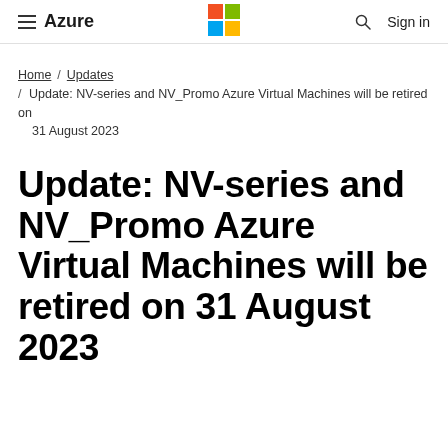Azure | Microsoft logo | Sign in
Home / Updates / Update: NV-series and NV_Promo Azure Virtual Machines will be retired on 31 August 2023
Update: NV-series and NV_Promo Azure Virtual Machines will be retired on 31 August 2023